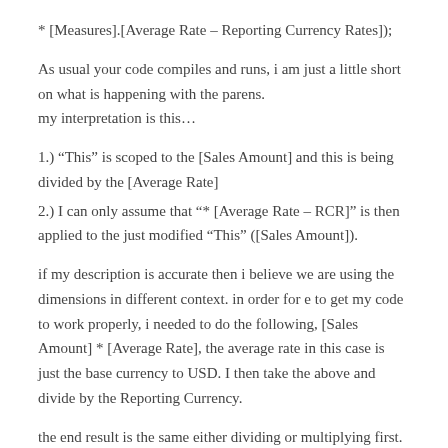* [Measures].[Average Rate – Reporting Currency Rates]);
As usual your code compiles and runs, i am just a little short on what is happening with the parens. my interpretation is this…
1.) “This” is scoped to the [Sales Amount] and this is being divided by the [Average Rate]
2.) I can only assume that “* [Average Rate – RCR]” is then applied to the just modified “This” ([Sales Amount]).
if my description is accurate then i believe we are using the dimensions in different context. in order for e to get my code to work properly, i needed to do the following, [Sales Amount] * [Average Rate], the average rate in this case is just the base currency to USD. I then take the above and divide by the Reporting Currency.
the end result is the same either dividing or multiplying first. my main question is centered around the difference in the use of the parens “(” and how “This” is interpretted.